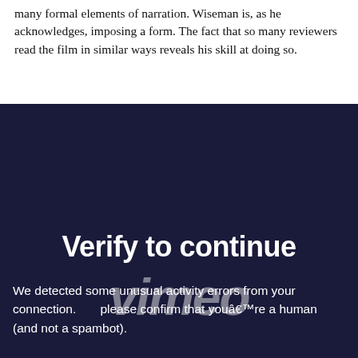many formal elements of narration. Wiseman is, as he acknowledges, imposing a form. The fact that so many reviewers read the film in similar ways reveals his skill at doing so.
[Figure (screenshot): Vimeo 'Verify to continue' CAPTCHA overlay on a dark navy background. Shows bold white text 'Verify to continue', a large semi-transparent italic 'vimeo' logo watermark, body text about detecting errors and confirming human identity, and a reCAPTCHA checkbox widget with 'I'm not a robot' label, reCAPTCHA logo, and 'Privacy - Terms' links.]